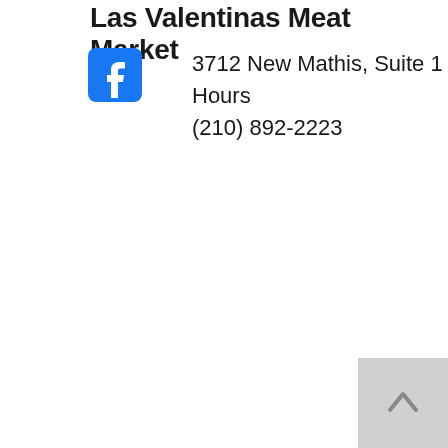Las Valentinas Meat Market
[Figure (logo): Facebook logo icon — blue rounded square with white 'f']
3712 New Mathis, Suite 1
Hours
(210) 892-2223